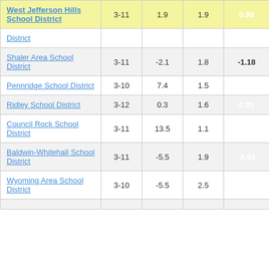| District | Grades | Col3 | Col4 | Col5 |
| --- | --- | --- | --- | --- |
| West Jefferson Hills School District | 3-11 | 1.9 | 1.9 | 0.99 |
| District |  |  |  |  |
| Shaler Area School District | 3-11 | -2.1 | 1.8 | -1.18 |
| Pennridge School District | 3-10 | 7.4 | 1.5 | 5.10 |
| Ridley School District | 3-12 | 0.3 | 1.6 | 0.21 |
| Council Rock School District | 3-11 | 13.5 | 1.1 | 12.27 |
| Baldwin-Whitehall School District | 3-11 | -5.5 | 1.9 | -2.93 |
| Wyoming Area School District | 3-10 | -5.5 | 2.5 | -2.21 |